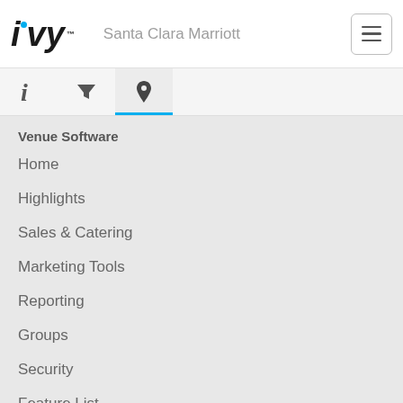iVvy – Santa Clara Marriott
[Figure (screenshot): Navigation tab bar with three icons: info (i), filter (funnel), and location pin. The location pin tab is active with a blue underline.]
Venue Software
Home
Highlights
Sales & Catering
Marketing Tools
Reporting
Groups
Security
Feature List
Support
Help